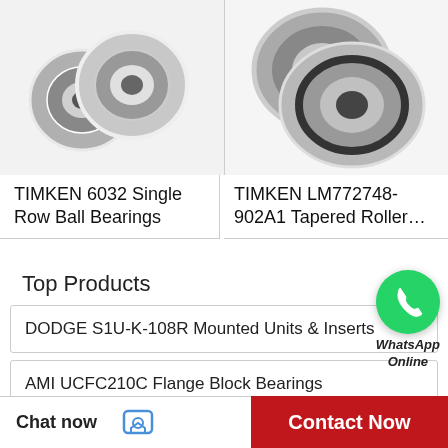[Figure (photo): Two small metallic ball bearings (TIMKEN 6032 Single Row Ball Bearings) photographed on white background]
[Figure (photo): Two larger metallic tapered roller bearings (TIMKEN LM772748-902A1 Tapered Roller Bearings) photographed on white background]
TIMKEN 6032 Single Row Ball Bearings
TIMKEN LM772748-902A1 Tapered Roller...
Top Products
[Figure (logo): WhatsApp green circle icon with phone handset and WhatsApp Online label]
DODGE S1U-K-108R Mounted Units & Inserts
AMI UCFC210C Flange Block Bearings
SKF 6316 M/C4VL0241 Single Row Ball Bearings
Chat now
Contact Now